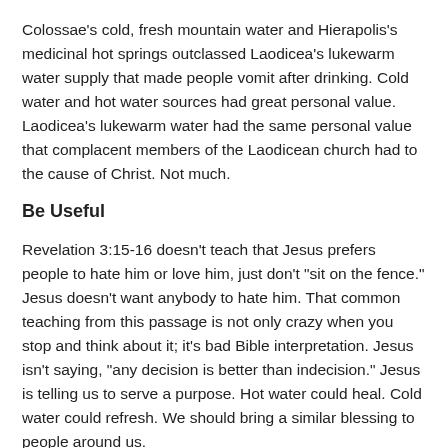Colossae's cold, fresh mountain water and Hierapolis's medicinal hot springs outclassed Laodicea's lukewarm water supply that made people vomit after drinking. Cold water and hot water sources had great personal value. Laodicea's lukewarm water had the same personal value that complacent members of the Laodicean church had to the cause of Christ. Not much.
Be Useful
Revelation 3:15-16 doesn't teach that Jesus prefers people to hate him or love him, just don't "sit on the fence." Jesus doesn't want anybody to hate him. That common teaching from this passage is not only crazy when you stop and think about it; it's bad Bible interpretation. Jesus isn't saying, "any decision is better than indecision." Jesus is telling us to serve a purpose. Hot water could heal. Cold water could refresh. We should bring a similar blessing to people around us.
We were meant to serve him. Our actions were meant to embody his values and contribute to his redemptive mission. When we just live for ourselves like the lukewarm water that contributed to the wealth engine of the Laodicean textile industry, we are useless. We lose our